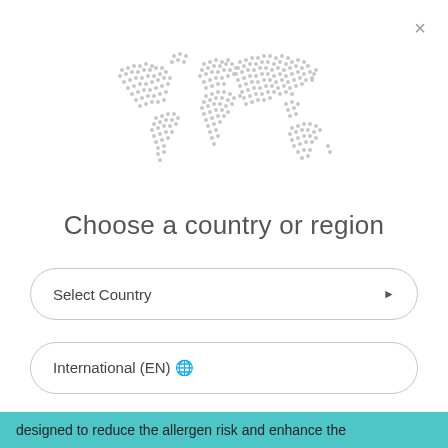[Figure (illustration): Dotted/stippled world map graphic in light gray]
Choose a country or region
Select Country
International (EN) 🌐
designed to reduce the allergen risk and enhance the